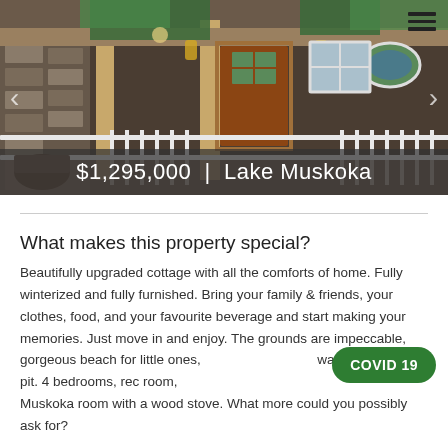[Figure (photo): Exterior photo of a cottage with a wood front door, white railings, porch, and red Adirondack chairs on the deck. Background shows trees.]
$1,295,000 | Lake Muskoka
What makes this property special?
Beautifully upgraded cottage with all the comforts of home. Fully winterized and fully furnished. Bring your family & friends, your clothes, food, and your favourite beverage and start making your memories. Just move in and enjoy. The grounds are impeccable, gorgeous beach for little ones, water's edge fire pit. 4 bedrooms, rec room, Muskoka room with a wood stove. What more could you possibly ask for?